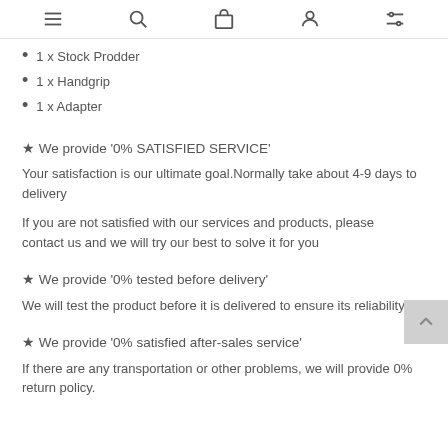navigation icons: menu, search, bag, user, filters
1 x Stock Prodder
1 x Handgrip
1 x Adapter
★ We provide '0% SATISFIED SERVICE'
Your satisfaction is our ultimate goal.Normally take about 4-9 days to delivery
If you are not satisfied with our services and products, please contact us and we will try our best to solve it for you
★ We provide '0% tested before delivery'
We will test the product before it is delivered to ensure its reliability.
★ We provide '0% satisfied after-sales service'
If there are any transportation or other problems, we will provide 0% return policy.